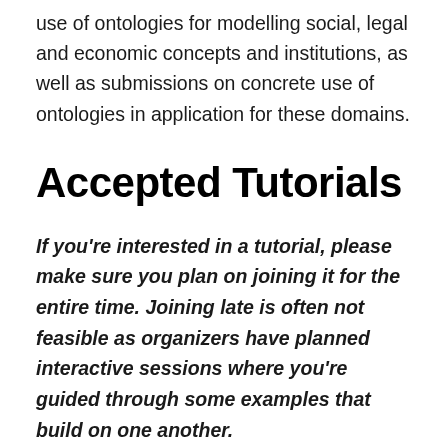use of ontologies for modelling social, legal and economic concepts and institutions, as well as submissions on concrete use of ontologies in application for these domains.
Accepted Tutorials
If you're interested in a tutorial, please make sure you plan on joining it for the entire time. Joining late is often not feasible as organizers have planned interactive sessions where you're guided through some examples that build on one another.